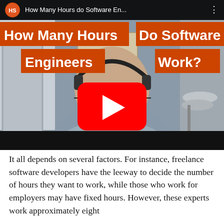[Figure (screenshot): YouTube video thumbnail showing a man wearing headphones and glasses seated in a room with drums visible. Video title overlays in orange boxes read: 'How Many Hours | Do Software' and 'Engineers | Work?'. A YouTube play button is in the center. The top bar shows the HS channel logo and title 'How Many Hours do Software En...'.]
It all depends on several factors. For instance, freelance software developers have the leeway to decide the number of hours they want to work, while those who work for employers may have fixed hours. However, these experts work approximately eight